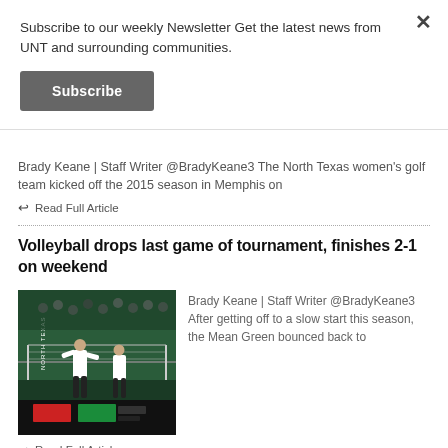Subscribe to our weekly Newsletter Get the latest news from UNT and surrounding communities.
Subscribe
Brady Keane | Staff Writer @BradyKeane3 The North Texas women's golf team kicked off the 2015 season in Memphis on
Read Full Article
Volleyball drops last game of tournament, finishes 2-1 on weekend
[Figure (photo): North Texas volleyball players in action on court with green background and scoreboard]
Brady Keane | Staff Writer @BradyKeane3 After getting off to a slow start this season, the Mean Green bounced back to
Read Full Article